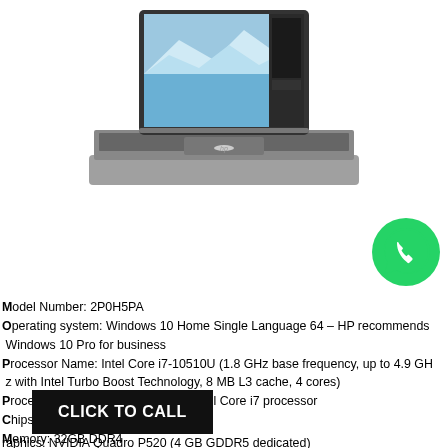[Figure (photo): HP ZBook laptop computer open, showing a glacier/ice landscape wallpaper on screen with Photoshop open, keyboard visible, silver/gray chassis]
[Figure (logo): WhatsApp green circular logo with white phone handset icon]
Model Number: 2P0H5PA
Operating system: Windows 10 Home Single Language 64 – HP recommends Windows 10 Pro for business
Processor Name: Intel Core i7-10510U (1.8 GHz base frequency, up to 4.9 GHz with Intel Turbo Boost Technology, 8 MB L3 cache, 4 cores)
Processor family: 10th Generation Intel Core i7 processor
Chipset: Intel Integrated SoC
Memory: 32GB DDR4
STORAGE: 1TB SSD
Display: FHD (1920 x 1080), IPS, anti-glare, 250 nits, 72% NTSC
Graphics: NVIDIA Quadro P520 (4 GB GDDR5 dedicated)
CLICK TO CALL